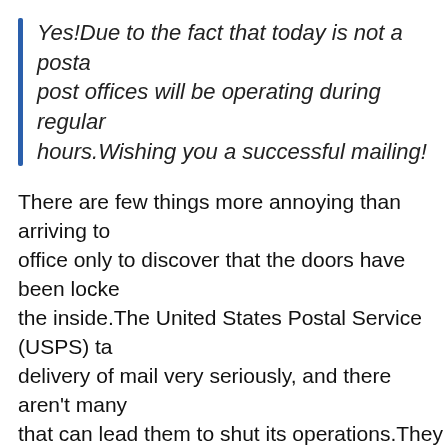Yes!Due to the fact that today is not a postal holiday, post offices will be operating during regular hours.Wishing you a successful mailing!
There are few things more annoying than arriving to the office only to discover that the doors have been locked from the inside.The United States Postal Service (USPS) takes delivery of mail very seriously, and there aren't many things that can lead them to shut its operations.They do, however, observe a few federal holidays throughout the year, during which time mail is not delivered and the local post offices are closed to the public.
Fortunately, if you merely need to check your PO Box, most locations provide access to them at any time of day or night, even when the postal counter may be closed.In case you are wondering whether or not post offices are open today...